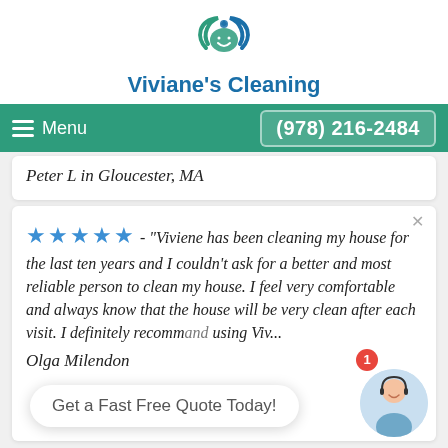[Figure (logo): Viviane's Cleaning logo — circular swirl with leaf and water droplet motif in teal and blue]
Viviane's Cleaning
Menu   (978) 216-2484
Peter L in Gloucester, MA
★★★★★ - "Viviene has been cleaning my house for the last ten years and I couldn't ask for a better and most reliable person to clean my house. I feel very comfortable and always know that the house will be very clean after each visit. I definitely recommend using Viv...
Olga Milendon